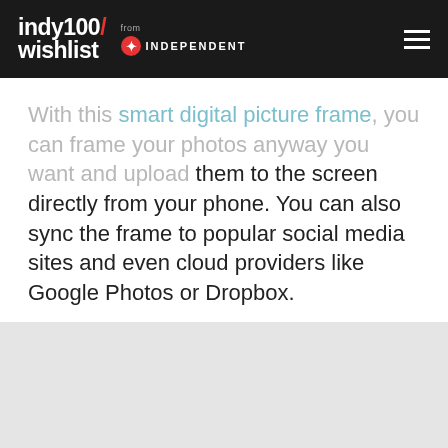indy100/wishlist from INDEPENDENT
With this smart digital picture frame, you can frame your photos anyway you want and upload them to the screen directly from your phone. You can also sync the frame to popular social media sites and even cloud providers like Google Photos or Dropbox.
[Figure (other): Orange rounded button with text SEE IT ON AMAZON]
[Figure (other): Light grey image placeholder at bottom of page]